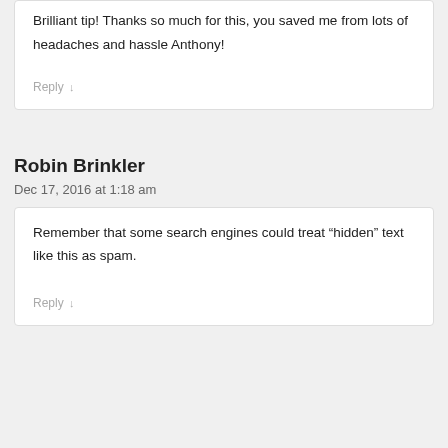Brilliant tip! Thanks so much for this, you saved me from lots of headaches and hassle Anthony!
Reply
Robin Brinkler
Dec 17, 2016 at 1:18 am
Remember that some search engines could treat “hidden” text like this as spam.
Reply